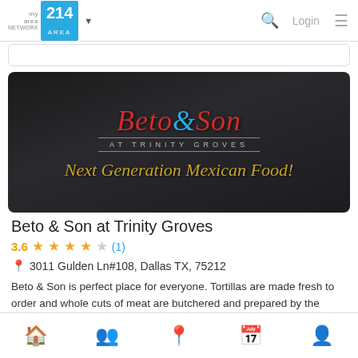my area network | 214 AREA | Login
[Figure (photo): Beto & Son at Trinity Groves restaurant banner image with dark background showing logo text 'Beto & Son AT TRINITY GROVES' and tagline 'Next Generation Mexican Food!']
Beto & Son at Trinity Groves
3.6 ★★★★☆ (1)
3011 Gulden Ln#108, Dallas TX, 75212
Beto & Son is perfect place for everyone. Tortillas are made fresh to order and whole cuts of meat are butchered and prepared by the chefs. Ingredients...
Home | Groups | Location | Calendar | Profile